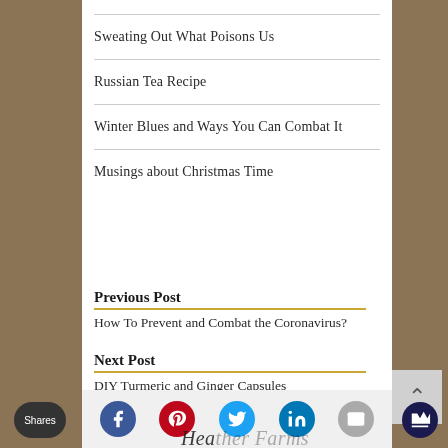Sweating Out What Poisons Us
Russian Tea Recipe
Winter Blues and Ways You Can Combat It
Musings about Christmas Time
Previous Post
How To Prevent and Combat the Coronavirus?
Next Post
DIY Turmeric and Ginger Capsules
[Figure (infographic): Social sharing bar with Facebook, Pinterest, Twitter, LinkedIn, Email icons, Shares button, and crown icon]
Heather Farms